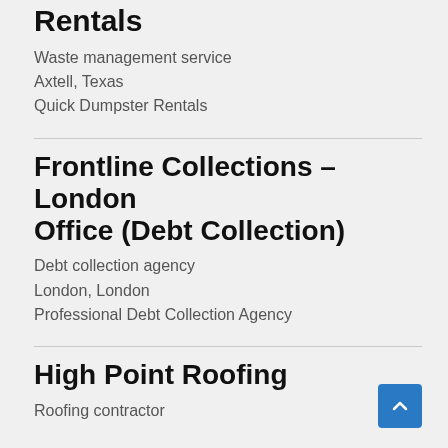One and Done Dumpster Rentals
Waste management service
Axtell, Texas
Quick Dumpster Rentals
Frontline Collections – London Office (Debt Collection)
Debt collection agency
London, London
Professional Debt Collection Agency
High Point Roofing
Roofing contractor